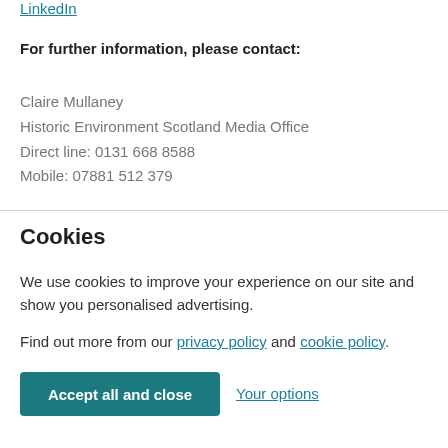LinkedIn
For further information, please contact:
Claire Mullaney
Historic Environment Scotland Media Office
Direct line: 0131 668 8588
Mobile: 07881 512 379
Cookies
We use cookies to improve your experience on our site and show you personalised advertising.
Find out more from our privacy policy and cookie policy.
Accept all and close
Your options